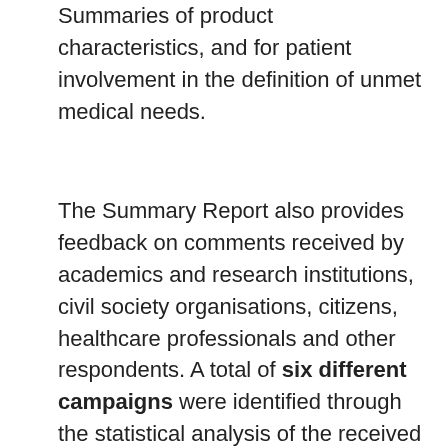Summaries of product characteristics, and for patient involvement in the definition of unmet medical needs.
The Summary Report also provides feedback on comments received by academics and research institutions, civil society organisations, citizens, healthcare professionals and other respondents. A total of six different campaigns were identified through the statistical analysis of the received answers, addressing respectively the need to update the radiopharmaceutical legislation, medicines shortages and the role of wholesale distribution, incentives for the innovative